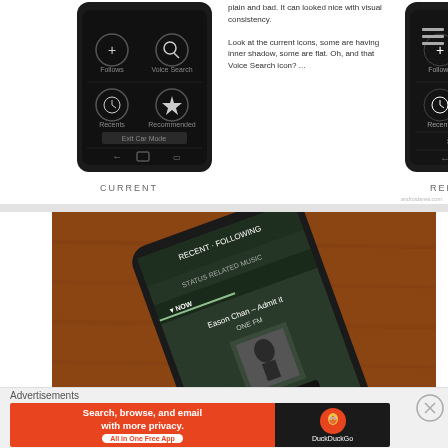[Figure (screenshot): Two smartphone screenshots side by side: CURRENT (left, dark theme) and REDESIGNED (right, lighter dark theme) showing a Car Mode UI with Follows, Voice Search, Recents, Recommended icons and Exit Car Mode button]
plain and bad. It can looked nice with visual consistency.

Look at the current icons, some are having inner shadow, some are flat. Oh, and that Voice Search icon? ...
CURRENT
REDESIGNED
[Figure (photo): Photo of a smartphone on a wooden table showing a music app with Eason Chan - Admit it, One FM, with a Get it on Google Play badge visible]
Advertisements
[Figure (screenshot): DuckDuckGo advertisement banner: Search, browse, and email with more privacy. All in One Free App. DuckDuckGo logo on dark background.]